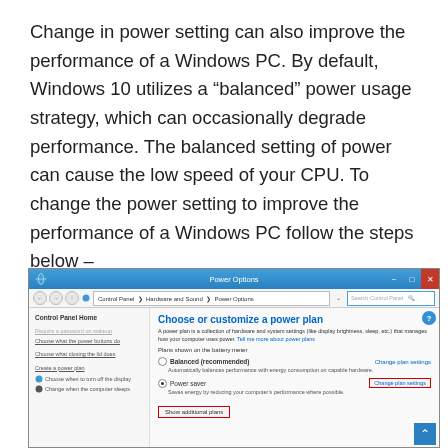Change in power setting can also improve the performance of a Windows PC. By default, Windows 10 utilizes a “balanced” power usage strategy, which can occasionally degrade performance. The balanced setting of power can cause the low speed of your CPU. To change the power setting to improve the performance of a Windows PC follow the steps below –
[Figure (screenshot): Windows 10 Power Options control panel window showing Choose or customize a power plan with Balanced (recommended) and Power saver options, with Show additional plans box and Change plan settings links highlighted in red boxes.]